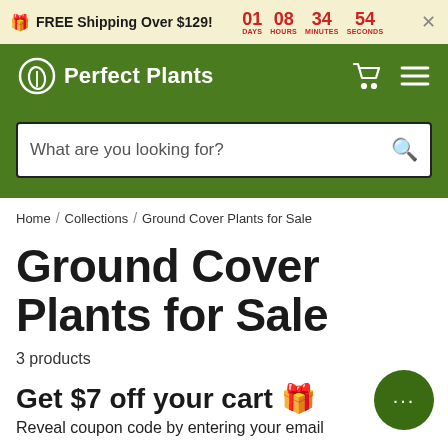🎁 FREE Shipping Over $129! 01 DAYS 08 HOURS 34 MINUTES 54 SECONDS
Perfect Plants
[Figure (screenshot): Search bar with placeholder text 'What are you looking for?' and search icon]
Home / Collections / Ground Cover Plants for Sale
Ground Cover Plants for Sale
3 products
Get $7 off your cart 🎁
Reveal coupon code by entering your email